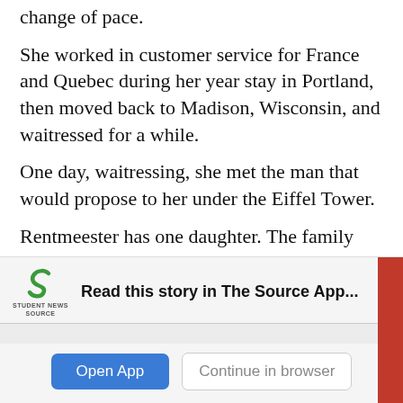change of pace.
She worked in customer service for France and Quebec during her year stay in Portland, then moved back to Madison, Wisconsin, and waitressed for a while.
One day, waitressing, she met the man that would propose to her under the Eiffel Tower.
Rentmeester has one daughter. The family enjoys speed boating, jet skiing, mini golf tournaments, and, most of all, football.
She always enjoyed watching football growing up,
[Figure (screenshot): App download overlay with Student News Source logo, 'Read this story in The Source App...' prompt, and two buttons: 'Open App' and 'Continue in browser']